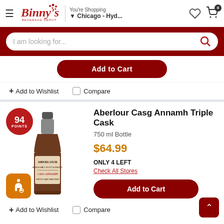Binny's Beverage Depot — You're Shopping Chicago - Hyd...
I am looking for...
Add to Cart
+ Add to Wishlist
Compare
Aberlour Casg Annamh Triple Cask
750 ml Bottle
$64.99
ONLY 4 LEFT
Check All Stores
Add to Cart
+ Add to Wishlist
Compare
[Figure (photo): Bottle of Aberlour Casg Annamh Triple Cask whisky with 94 points badge]